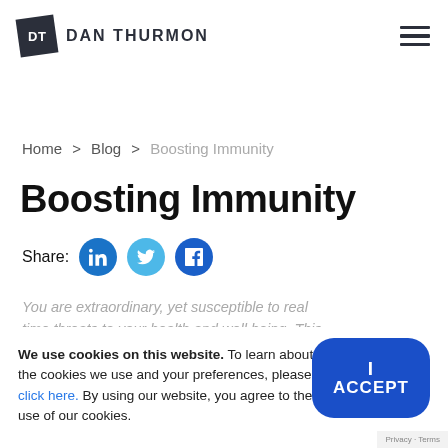[Figure (logo): DT logo with tilted dark square containing 'DT' text, followed by 'DAN THURMON' wordmark]
[Figure (illustration): Hamburger menu icon (three horizontal lines)]
Home > Blog > Boosting Immunity
Boosting Immunity
Share:
You are extraordinary, yet susceptible to real time threats to your health and well being. This week's coaching video offers insights effective ways to boost your immunity improve your life.
We use cookies on this website. To learn about the cookies we use and your preferences, please click here. By using our website, you agree to the use of our cookies.